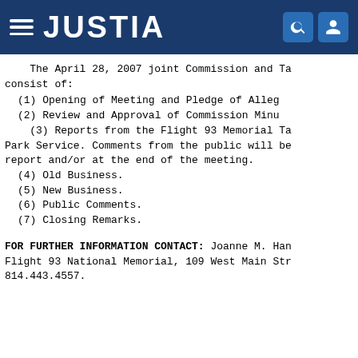JUSTIA
The April 28, 2007 joint Commission and Ta... consist of:
(1) Opening of Meeting and Pledge of Alleg...
(2) Review and Approval of Commission Minu...
(3) Reports from the Flight 93 Memorial Ta... Park Service. Comments from the public will be... report and/or at the end of the meeting.
(4) Old Business.
(5) New Business.
(6) Public Comments.
(7) Closing Remarks.
FOR FURTHER INFORMATION CONTACT: Joanne M. Han... Flight 93 National Memorial, 109 West Main Str... 814.443.4557.